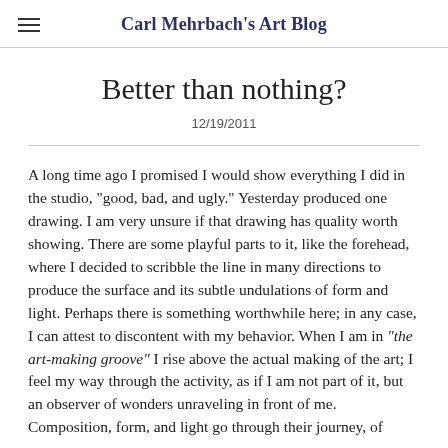Carl Mehrbach's Art Blog
Better than nothing?
12/19/2011
A long time ago I promised I would show everything I did in the studio, "good, bad, and ugly." Yesterday produced one drawing. I am very unsure if that drawing has quality worth showing. There are some playful parts to it, like the forehead, where I decided to scribble the line in many directions to produce the surface and its subtle undulations of form and light. Perhaps there is something worthwhile here; in any case, I can attest to discontent with my behavior. When I am in "the art-making groove" I rise above the actual making of the art; I feel my way through the activity, as if I am not part of it, but an observer of wonders unraveling in front of me. Composition, form, and light go through their journey, of